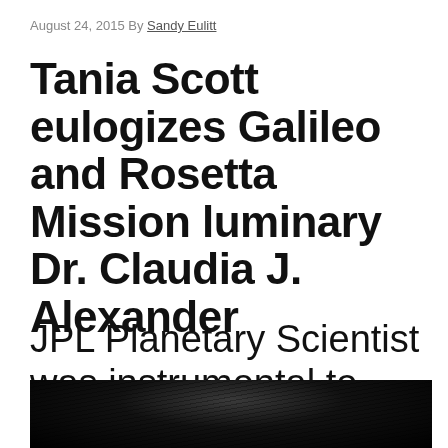August 24, 2015 By Sandy Eulitt
Tania Scott eulogizes Galileo and Rosetta Mission luminary Dr. Claudia J. Alexander
JPL Planetary Scientist was instrumental to mission success
[Figure (photo): Black and white close-up photograph, partially visible, showing dark hair against a dark background.]